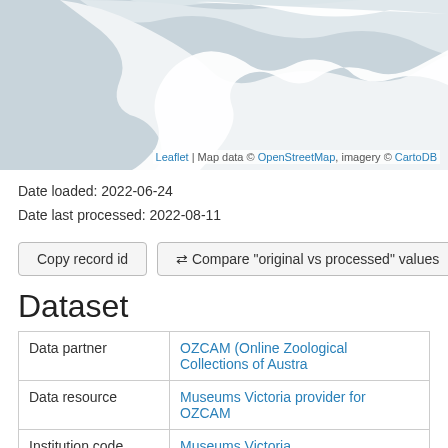[Figure (map): Map of Australia region with white land shape on grey background, with Leaflet/OpenStreetMap attribution]
Leaflet | Map data © OpenStreetMap, imagery © CartoDB
Date loaded: 2022-06-24
Date last processed: 2022-08-11
Copy record id   ⇆ Compare "original vs processed" values
Dataset
|  |  |
| --- | --- |
| Data partner | OZCAM (Online Zoological Collections of Austra... |
| Data resource | Museums Victoria provider for OZCAM |
| Institution code | Museums Victoria
Supplied institution code "NMV" |
| Collection | Museums Victoria Entomology and Arachnology...
Supplied collection code "Entomology" |
| Catalog number | COL81475 |